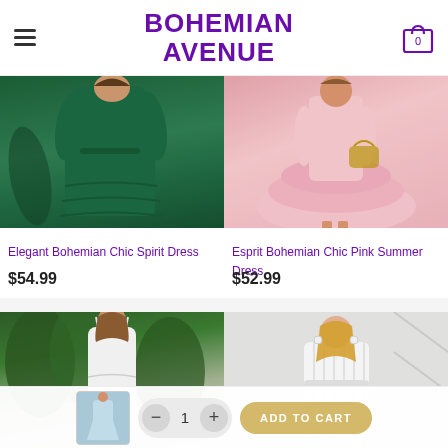BOHEMIAN AVENUE
[Figure (photo): Green long-sleeve bohemian dress product photo]
Elegant Bohemian Chic Spirit Dress
$54.99
[Figure (photo): Pink ruffled summer dress product photo]
Esprit Bohemian Chic Pink Summer Dress
$52.99
[Figure (photo): White spaghetti strap summer dress product photo with green trees background]
[Figure (photo): White sleeveless striped dress product photo]
[Figure (photo): Small thumbnail preview of a light blue/grey dress]
ADD TO CART